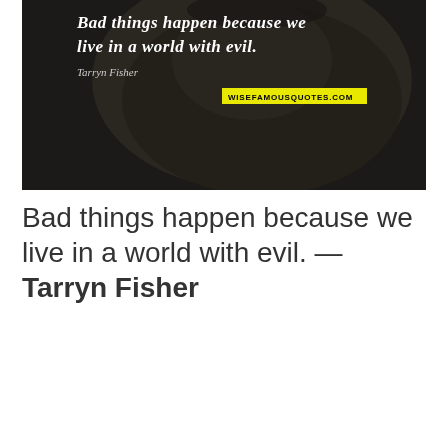[Figure (illustration): Dark background image of a face/figure with white cursive text reading 'Bad things happen because we live in a world with evil.' attributed to 'Tarryn Fisher' and a yellow label showing 'WISEFAMOUSQUOTES.COM']
Bad things happen because we live in a world with evil. — Tarryn Fisher